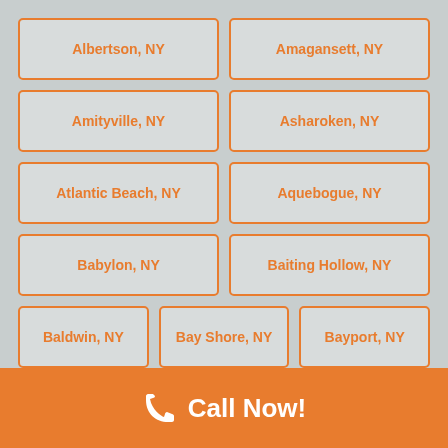Albertson, NY
Amagansett, NY
Amityville, NY
Asharoken, NY
Atlantic Beach, NY
Aquebogue, NY
Babylon, NY
Baiting Hollow, NY
Baldwin, NY
Bay Shore, NY
Bayport, NY
Bayville, NY
Belle Terre, NY
Bellerose, NY
Bellmore, NY
Bellport, NY
Blue Point, NY
Bethpage, NY
Brentwood, NY
Call Now!